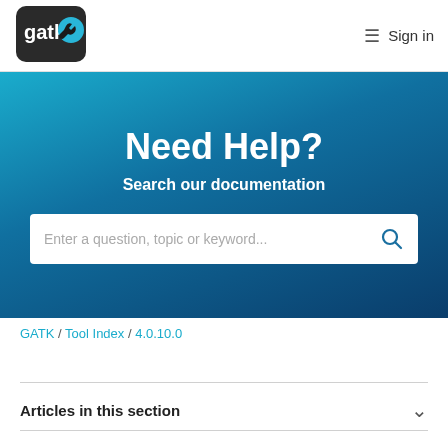[Figure (logo): GATK logo — dark rounded rectangle with white 'gatk' text and a blue wrench/gear icon]
≡  Sign in
Need Help?
Search our documentation
Enter a question, topic or keyword...
GATK / Tool Index / 4.0.10.0
Articles in this section